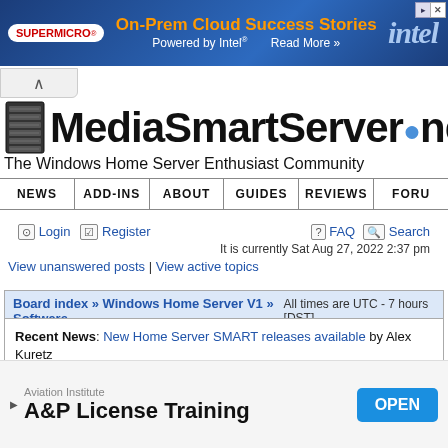[Figure (screenshot): Supermicro/Intel advertisement banner: On-Prem Cloud Success Stories, Powered by Intel, Read More >>]
MediaSmartServer.net
The Windows Home Server Enthusiast Community
NEWS | ADD-INS | ABOUT | GUIDES | REVIEWS | FORUM
Login  Register  FAQ  Search
It is currently Sat Aug 27, 2022 2:37 pm
View unanswered posts | View active topics
Board index » Windows Home Server V1 » Software  All times are UTC - 7 hours [DST]
Recent News: New Home Server SMART releases available by Alex Kuretz
[Figure (screenshot): Aviation Institute A&P License Training advertisement with OPEN button]